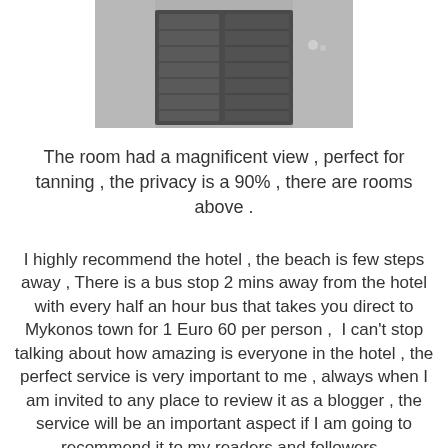[Figure (photo): Partial view of a building exterior showing a window with dark shutters against a light wall, photographed from below at an angle.]
The room had a magnificent view , perfect for tanning , the privacy is a 90% , there are rooms above .
I highly recommend the hotel , the beach is few steps away , There is a bus stop 2 mins away from the hotel with every half an hour bus that takes you direct to Mykonos town for 1 Euro 60 per person ,  I can't stop talking about how amazing is everyone in the hotel , the perfect service is very important to me , always when I am invited to any place to review it as a blogger , the service will be an important aspect if I am going to recommend it to my readers and followers .